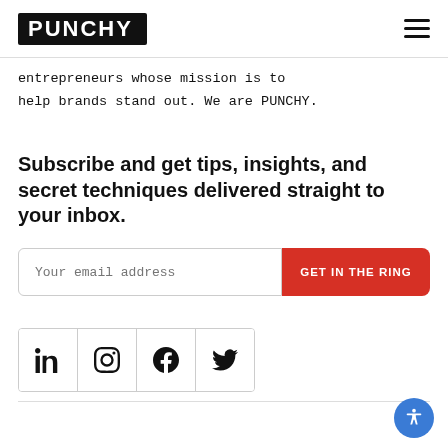PUNCHY
entrepreneurs whose mission is to help brands stand out. We are PUNCHY.
Subscribe and get tips, insights, and secret techniques delivered straight to your inbox.
Your email address [input field] GET IN THE RING [button]
[Figure (other): Social media icon row: LinkedIn, Instagram, Facebook, Twitter icons in a bordered box]
[Figure (other): Accessibility button (blue circle with person icon) in bottom right corner]